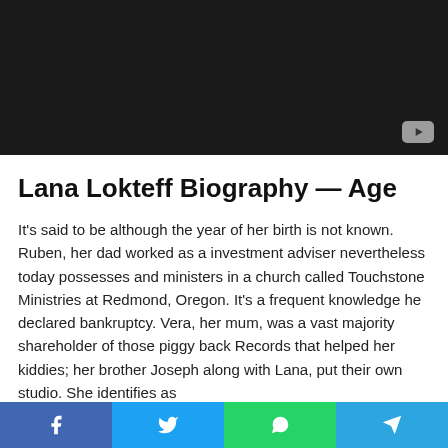[Figure (other): Dark video thumbnail placeholder with YouTube play button in bottom-right corner]
Lana Lokteff Biography — Age
It's said to be although the year of her birth is not known. Ruben, her dad worked as a investment adviser nevertheless today possesses and ministers in a church called Touchstone Ministries at Redmond, Oregon. It's a frequent knowledge he declared bankruptcy. Vera, her mum, was a vast majority shareholder of those piggy back Records that helped her kiddies; her brother Joseph along with Lana, put their own studio. She identifies as
[Figure (other): Social sharing bar with Facebook, Twitter, WhatsApp, and Telegram buttons]